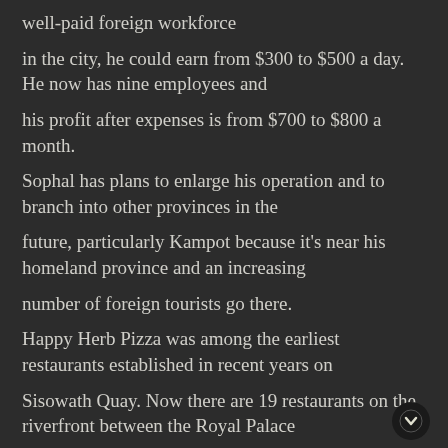well-paid foreign workforce
in the city, he could earn from $300 to $500 a day. He now has nine employees and
his profit after expenses is from $700 to $800 a month.
Sophal has plans to enlarge his operation and to branch into other provinces in the
future, particularly Kampot because it's near his homeland province and an increasing
number of foreign tourists go there.
Happy Herb Pizza was among the earliest restaurants established in recent years on
Sisowath Quay. Now there are 19 restaurants on the riverfront between the Royal Palace
and Psar Chas. Khmers own nine of them.
And pizza supremo Sophal is happy with the way his life is going: "I do not
want to dwell on the past, because it upsets me. I am very